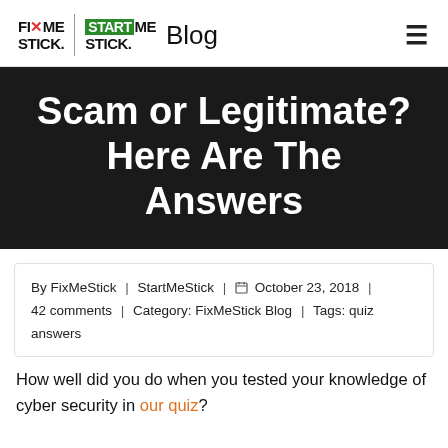FIXMESTICK | STARTMESTICK | Blog
Scam or Legitimate? Here Are The Answers
By FixMeStick | StartMeStick | October 23, 2018 | 42 comments | Category: FixMeStick Blog | Tags: quiz answers
How well did you do when you tested your knowledge of cyber security in our quiz?